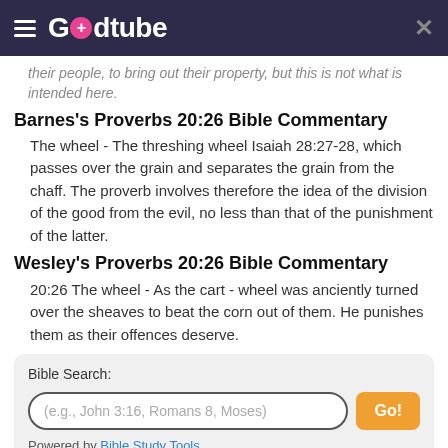Godtube
their people, to bring out their property, but this is not what is intended here.
Barnes's Proverbs 20:26 Bible Commentary
The wheel - The threshing wheel Isaiah 28:27-28, which passes over the grain and separates the grain from the chaff. The proverb involves therefore the idea of the division of the good from the evil, no less than that of the punishment of the latter.
Wesley's Proverbs 20:26 Bible Commentary
20:26 The wheel - As the cart - wheel was anciently turned over the sheaves to beat the corn out of them. He punishes them as their offences deserve.
Bible Search:
Powered by Bible Study Tools